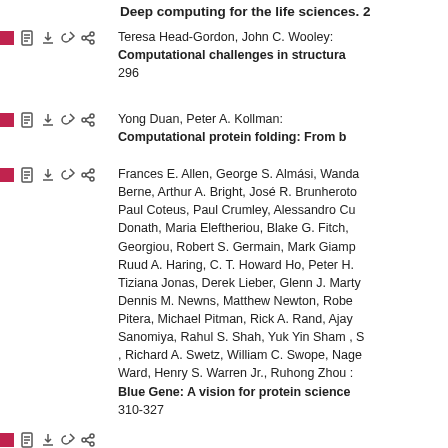Deep computing for the life sciences. 2
Teresa Head-Gordon, John C. Wooley: Computational challenges in structura... 296
Yong Duan, Peter A. Kollman: Computational protein folding: From b...
Frances E. Allen, George S. Almási, Wanda Berne, Arthur A. Bright, José R. Brunheroto, Paul Coteus, Paul Crumley, Alessandro Cu..., Donath, Maria Eleftheriou, Blake G. Fitch, ..., Georgiou, Robert S. Germain, Mark Giamp..., Ruud A. Haring, C. T. Howard Ho, Peter H. ..., Tiziana Jonas, Derek Lieber, Glenn J. Marty..., Dennis M. Newns, Matthew Newton, Robe..., Pitera, Michael Pitman, Rick A. Rand, Ajay ..., Sanomiya, Rahul S. Shah, Yuk Yin Sham , S..., , Richard A. Swetz, William C. Swope, Nage..., Ward, Henry S. Warren Jr., Ruhong Zhou : Blue Gene: A vision for protein science... 310-327
...